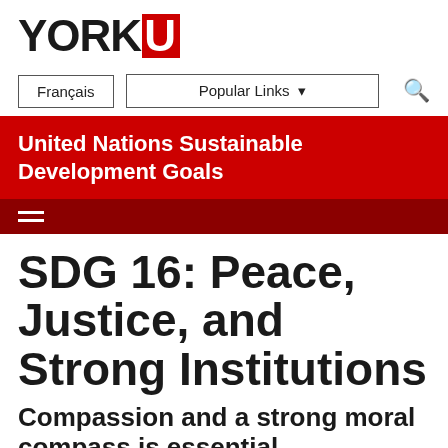YORK U
Français | Popular Links ▾ 🔍
United Nations Sustainable Development Goals
[Figure (other): Hamburger menu icon (three horizontal lines) on dark red background]
SDG 16: Peace, Justice, and Strong Institutions
Compassion and a strong moral compass is essential